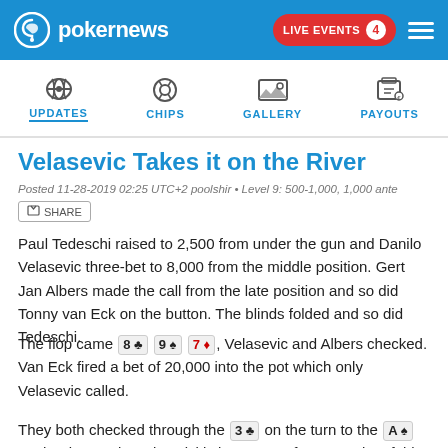pokernews | LIVE EVENTS 4
[Figure (infographic): Navigation bar with icons for UPDATES, CHIPS, GALLERY, PAYOUTS]
Velasevic Takes it on the River
Posted 11-28-2019 02:25 UTC+2 poolshir • Level 9: 500-1,000, 1,000 ante
Paul Tedeschi raised to 2,500 from under the gun and Danilo Velasevic three-bet to 8,000 from the middle position. Gert Jan Albers made the call from the late position and so did Tonny van Eck on the button. The blinds folded and so did Tedeschi.
The flop came 8♣ 9♠ 7♦, Velasevic and Albers checked. Van Eck fired a bet of 20,000 into the pot which only Velasevic called.
They both checked through the 3♣ on the turn to the A♠ on the river. Velasevic quickly bet 40,000 for Van Eck to fold to.